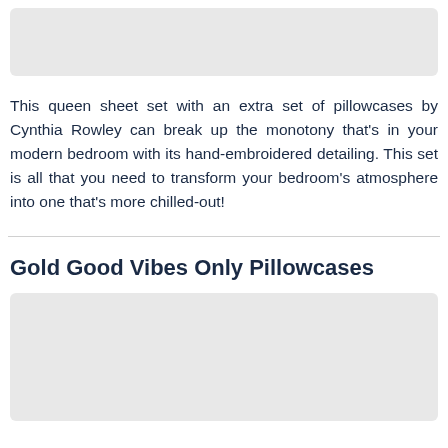[Figure (photo): Top image placeholder - grey rectangle]
This queen sheet set with an extra set of pillowcases by Cynthia Rowley can break up the monotony that's in your modern bedroom with its hand-embroidered detailing. This set is all that you need to transform your bedroom's atmosphere into one that's more chilled-out!
Gold Good Vibes Only Pillowcases
[Figure (photo): Bottom image placeholder - grey rectangle]